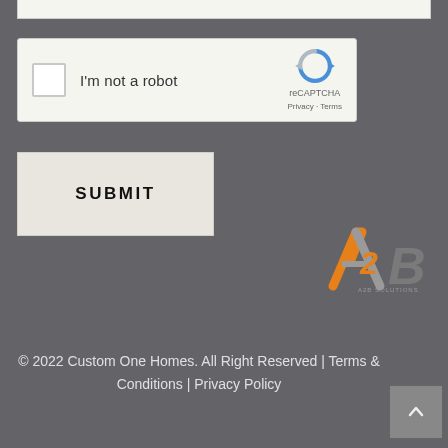[Figure (screenshot): reCAPTCHA widget with checkbox labeled 'I'm not a robot' and reCAPTCHA logo on the right showing Privacy and Terms links]
[Figure (screenshot): SUBMIT button — a beige/cream colored rectangular button with bold uppercase text 'SUBMIT']
[Figure (logo): A2B logo in orange and gray stylized lettering]
© 2022 Custom One Homes. All Right Reserved | Terms & Conditions | Privacy Policy